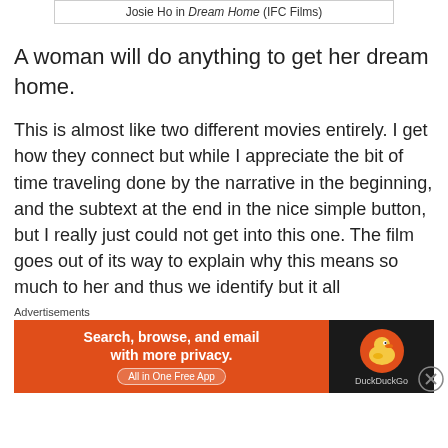Josie Ho in Dream Home (IFC Films)
A woman will do anything to get her dream home.
This is almost like two different movies entirely. I get how they connect but while I appreciate the bit of time traveling done by the narrative in the beginning, and the subtext at the end in the nice simple button, but I really just could not get into this one. The film goes out of its way to explain why this means so much to her and thus we identify but it all
Advertisements
[Figure (other): DuckDuckGo advertisement banner: orange left panel with text 'Search, browse, and email with more privacy. All in One Free App' and dark right panel with DuckDuckGo logo]